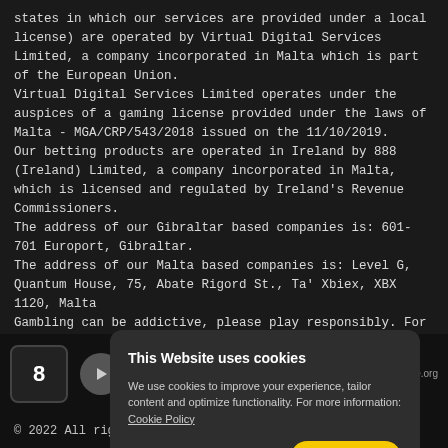states in which our services are provided under a local license) are operated by Virtual Digital Services Limited, a company incorporated in Malta which is part of the European Union. Virtual Digital Services Limited operates under the auspices of a gaming license provided under the laws of Malta - MGA/CRP/543/2018 issued on the 11/10/2019. Our betting products are operated in Ireland by 888 (Ireland) Limited, a company incorporated in Malta, which is licensed and regulated by Ireland's Revenue Commissioners. The address of our Gibraltar based companies is: 601-701 Europort, Gibraltar. The address of our Malta based companies is: Level G, Quantum House, 75, Abate Rigord St., Ta' Xbiex, XBX 1120, Malta Gambling can be addictive, please play responsibly. For more information on support tools, please visit our Responsible Gambling page
This Website uses cookies
We use cookies to improve your experience, tailor content and optimize functionality. For more information: Cookie Policy
Customize Cookies.
ACCEPT
© 2022 All rights reserved.